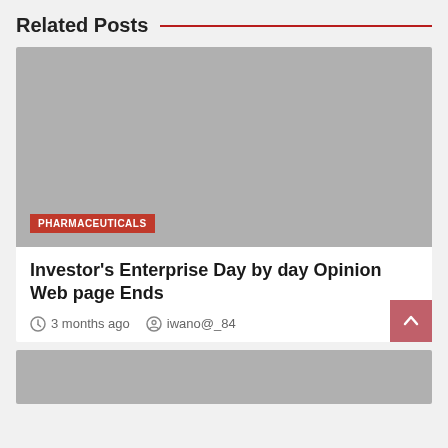Related Posts
[Figure (photo): Gray placeholder image for a post thumbnail with a PHARMACEUTICALS category label badge in the bottom left]
Investor's Enterprise Day by day Opinion Web page Ends
3 months ago   iwano@_84
[Figure (photo): Gray placeholder image for a second post thumbnail, partially visible at the bottom]